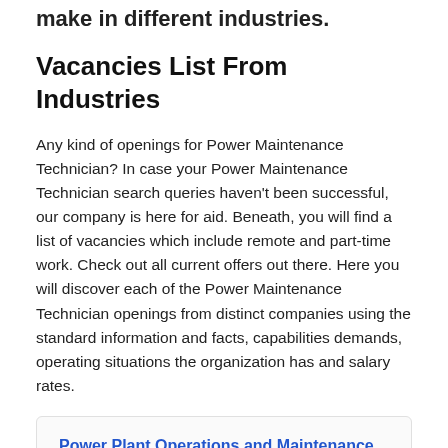make in different industries.
Vacancies List From Industries
Any kind of openings for Power Maintenance Technician? In case your Power Maintenance Technician search queries haven't been successful, our company is here for aid. Beneath, you will find a list of vacancies which include remote and part-time work. Check out all current offers out there. Here you will discover each of the Power Maintenance Technician openings from distinct companies using the standard information and facts, capabilities demands, operating situations the organization has and salary rates.
Power Plant Operations and Maintenance Technician - Handley Station, Tx
Constellation